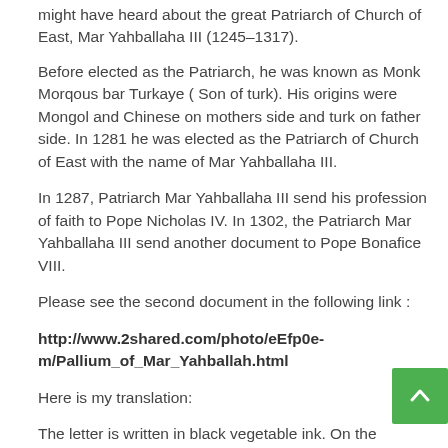might have heard about the great Patriarch of Church of East, Mar Yahballaha III (1245–1317).
Before elected as the Patriarch, he was known as Monk Morqous bar Turkaye ( Son of turk). His origins were Mongol and Chinese on mothers side and turk on father side. In 1281 he was elected as the Patriarch of Church of East with the name of Mar Yahballaha III.
In 1287, Patriarch Mar Yahballaha III send his profession of faith to Pope Nicholas IV. In 1302, the Patriarch Mar Yahballaha III send another document to Pope Bonafice VIII.
Please see the second document in the following link :
http://www.2shared.com/photo/eEfp0e-m/Pallium_of_Mar_Yahballah.html
Here is my translation:
The letter is written in black vegetable ink. On the